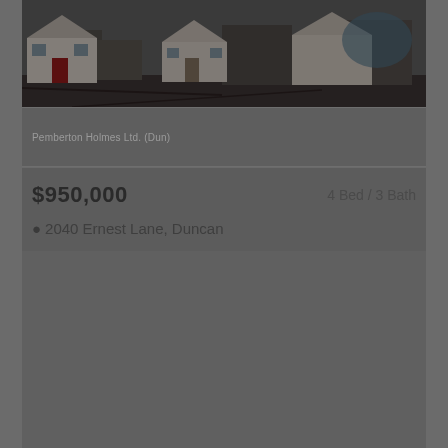[Figure (photo): Exterior photo of residential houses/homes on a street, dark and moody lighting]
Pemberton Holmes Ltd. (Dun)
$950,000   4 Bed / 3 Bath
2040 Ernest Lane, Duncan